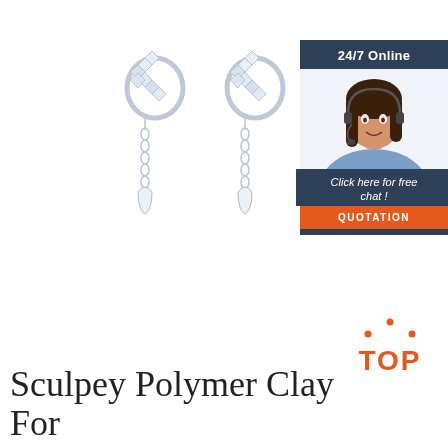[Figure (photo): Two silver crystal drop hoop earrings with dangling chain and teardrop crystal pendant, shown as a product photo on white background]
[Figure (infographic): Side banner with dark blue background showing '24/7 Online', a female customer service agent with headset, text 'Click here for free chat!' and an orange QUOTATION button]
[Figure (logo): Orange 'TOP' badge with dotted arc above the letters]
Sculpey Polymer Clay For